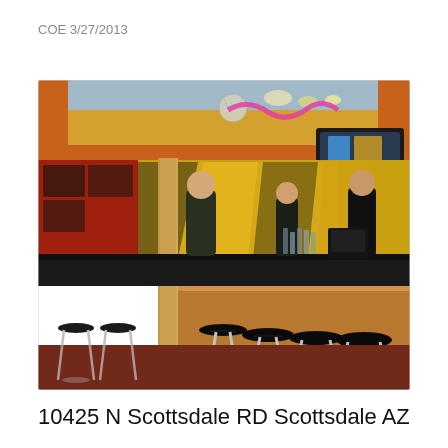COE 3/27/2013
[Figure (photo): Interior photo of a bar/restaurant showing a long bar counter with black bar stools, bartenders working behind the counter, colorful graffiti-style wall art in yellow and black, a TV screen mounted on the right wall, decorative items on the ceiling including a disco ball and pink streamers, and a wooden support beam in the foreground.]
10425 N Scottsdale RD Scottsdale AZ